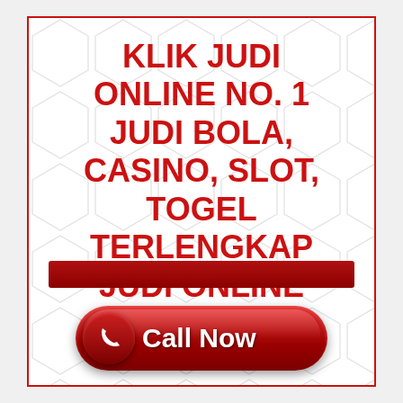KLIK JUDI ONLINE NO. 1 JUDI BOLA, CASINO, SLOT, TOGEL TERLENGKAP JUDI ONLINE KELAS VVIP
[Figure (illustration): Red horizontal bar separator]
[Figure (illustration): Red rounded button with phone icon and 'Call Now' text]